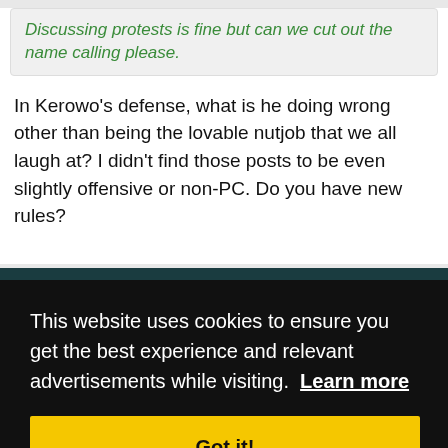Discussing protests is fine but can we cut out the name calling please.
In Kerowo's defense, what is he doing wrong other than being the lovable nutjob that we all laugh at? I didn't find those posts to be even slightly offensive or non-PC. Do you have new rules?
01-29-2017, 11:08 AM
#232
This website uses cookies to ensure you get the best experience and relevant advertisements while visiting.  Learn more
Got it!
#233
Black Peter